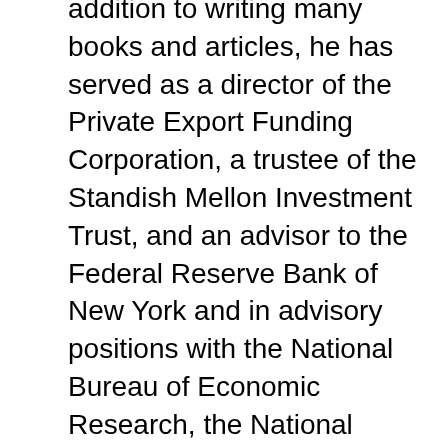addition to writing many books and articles, he has served as a director of the Private Export Funding Corporation, a trustee of the Standish Mellon Investment Trust, and an advisor to the Federal Reserve Bank of New York and in advisory positions with the National Bureau of Economic Research, the National Science Foundation Subcommittee on Economics, and the Congressional Budget Office. He is a member of the Council on Foreign Relations and the Brookings Panel on Economic Activity.
Besides his extensive scholarly writing, Friedman contributes to The...